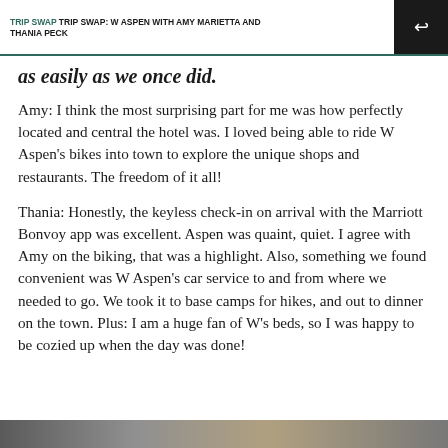TRIP SWAP TRIP SWAP: W ASPEN WITH AMY MARIETTA AND THANIA PECK
as easily as we once did.
Amy: I think the most surprising part for me was how perfectly located and central the hotel was. I loved being able to ride W Aspen’s bikes into town to explore the unique shops and restaurants. The freedom of it all!
Thania: Honestly, the keyless check-in on arrival with the Marriott Bonvoy app was excellent. Aspen was quaint, quiet. I agree with Amy on the biking, that was a highlight. Also, something we found convenient was W Aspen’s car service to and from where we needed to go. We took it to base camps for hikes, and out to dinner on the town. Plus: I am a huge fan of W’s beds, so I was happy to be cozied up when the day was done!
[Figure (photo): Bottom strip showing a partial photograph, cropped at the page edge.]